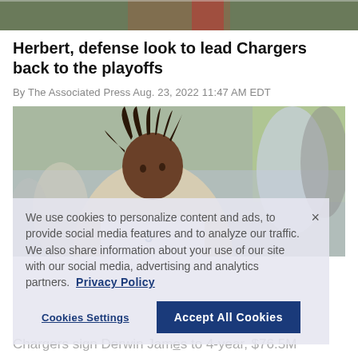[Figure (photo): Top cropped photo showing a person in sports setting, partial view at top of page]
Herbert, defense look to lead Chargers back to the playoffs
By The Associated Press Aug. 23, 2022 11:47 AM EDT
[Figure (photo): Main photo of a football player with dreadlocks, multiple players visible in background, blurred outdoor setting]
We use cookies to personalize content and ads, to provide social media features and to analyze our traffic. We also share information about your use of our site with our social media, advertising and analytics partners. Privacy Policy
Cookies Settings
Accept All Cookies
Chargers sign Derwin James to 4-year, $76.5M